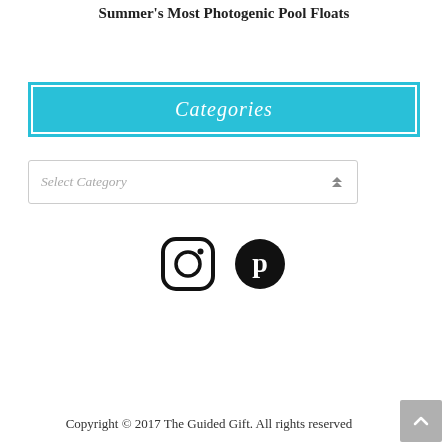Summer's Most Photogenic Pool Floats
Categories
[Figure (screenshot): A dropdown select box labeled 'Select Category' with an up/down arrow icon]
[Figure (other): Social media icons: Instagram and Pinterest]
Copyright © 2017 The Guided Gift. All rights reserved